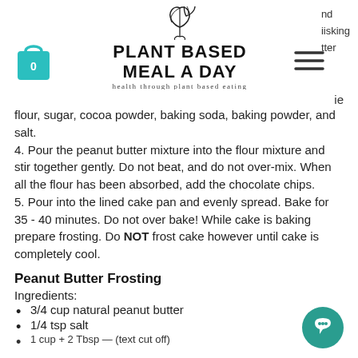[Figure (logo): Plant Based Meal A Day logo with leaf graphic, text 'PLANT BASED MEAL A DAY' and tagline 'health through plant based eating']
[Figure (illustration): Teal shopping bag icon with number 0]
[Figure (illustration): Hamburger menu icon (three horizontal lines)]
nd
iisking
tter
ie
flour, sugar, cocoa powder, baking soda, baking powder, and salt.
4. Pour the peanut butter mixture into the flour mixture and stir together gently. Do not beat, and do not over-mix. When all the flour has been absorbed, add the chocolate chips.
5. Pour into the lined cake pan and evenly spread. Bake for 35 - 40 minutes. Do not over bake! While cake is baking prepare frosting. Do NOT frost cake however until cake is completely cool.
Peanut Butter Frosting
Ingredients:
3/4 cup natural peanut butter
1/4 tsp salt
[Figure (illustration): Teal circular chat/message button with speech bubble icon]